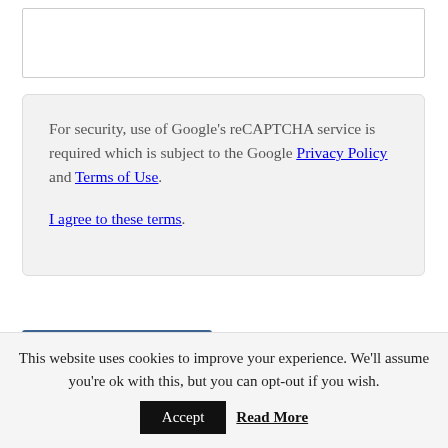[text input box]
For security, use of Google's reCAPTCHA service is required which is subject to the Google Privacy Policy and Terms of Use.

I agree to these terms.
POST COMMENT
This site uses Akismet to reduce spam. Learn how your comment data is processed.
This website uses cookies to improve your experience. We'll assume you're ok with this, but you can opt-out if you wish. Accept  Read More